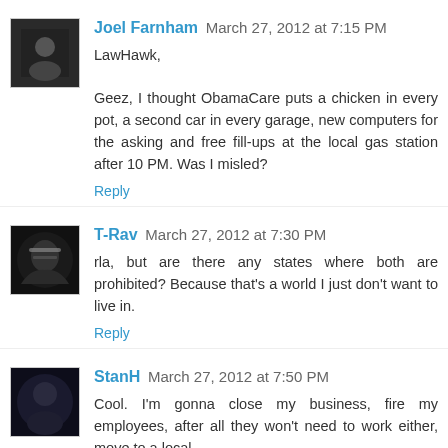Joel Farnham March 27, 2012 at 7:15 PM
LawHawk,

Geez, I thought ObamaCare puts a chicken in every pot, a second car in every garage, new computers for the asking and free fill-ups at the local gas station after 10 PM. Was I misled?
Reply
T-Rav March 27, 2012 at 7:30 PM
rla, but are there any states where both are prohibited? Because that's a world I just don't want to live in.
Reply
StanH March 27, 2012 at 7:50 PM
Cool. I'm gonna close my business, fire my employees, after all they won't need to work either, move to a local